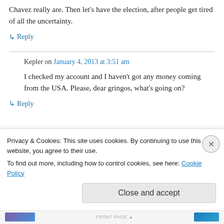Chavez really are. Then let’s have the election, after people get tired of all the uncertainty.
↳ Reply
Kepler on January 4, 2013 at 3:51 am
I checked my account and I haven’t got any money coming from the USA. Please, dear gringos, what’s going on?
↳ Reply
Privacy & Cookies: This site uses cookies. By continuing to use this website, you agree to their use.
To find out more, including how to control cookies, see here: Cookie Policy